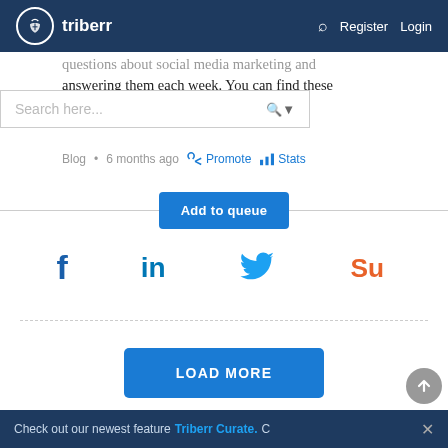triberr  Register  Login
questions about social media marketing and answering them each week. You can find these videos...
Blog • 6 months ago  Promote  Stats
Search here...
Add to queue
[Figure (screenshot): Social sharing icons: Facebook (f), LinkedIn (in), Twitter bird, StumbleUpon (su)]
LOAD MORE
Check out our newest feature Triberr Curate. C